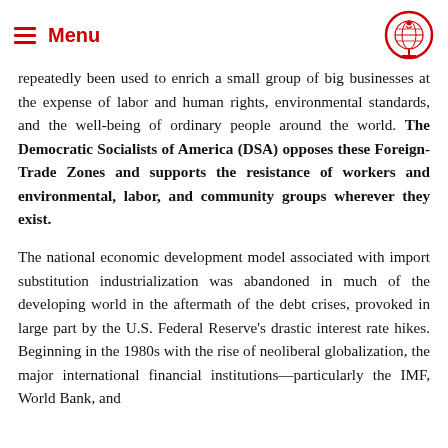≡ Menu
repeatedly been used to enrich a small group of big businesses at the expense of labor and human rights, environmental standards, and the well-being of ordinary people around the world. The Democratic Socialists of America (DSA) opposes these Foreign-Trade Zones and supports the resistance of workers and environmental, labor, and community groups wherever they exist.
The national economic development model associated with import substitution industrialization was abandoned in much of the developing world in the aftermath of the debt crises, provoked in large part by the U.S. Federal Reserve's drastic interest rate hikes. Beginning in the 1980s with the rise of neoliberal globalization, the major international financial institutions—particularly the IMF, World Bank, and